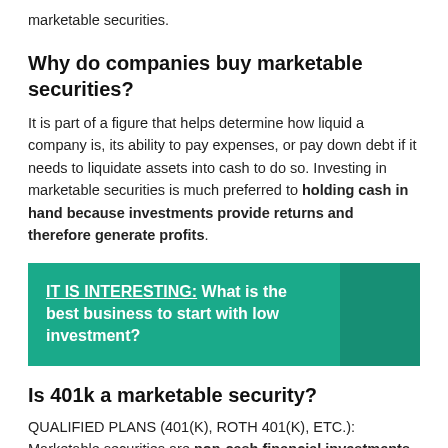marketable securities.
Why do companies buy marketable securities?
It is part of a figure that helps determine how liquid a company is, its ability to pay expenses, or pay down debt if it needs to liquidate assets into cash to do so. Investing in marketable securities is much preferred to holding cash in hand because investments provide returns and therefore generate profits.
IT IS INTERESTING:  What is the best business to start with low investment?
Is 401k a marketable security?
QUALIFIED PLANS (401(K), ROTH 401(K), ETC.): Marketable securities are non-cash financial investments that are easily sold for cash at market value. A retirement account where